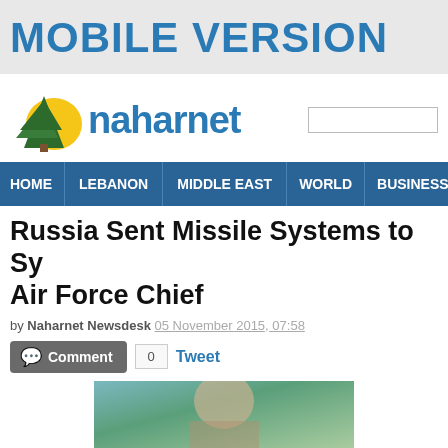MOBILE VERSION
[Figure (logo): Naharnet logo with cedar tree and sun graphic, with search box on the right]
HOME | LEBANON | MIDDLE EAST | WORLD | BUSINESS | SP
Russia Sent Missile Systems to Sy Air Force Chief
by Naharnet Newsdesk 05 November 2015, 07:58
Comment 0 Tweet
[Figure (photo): Partial photo of a person, cropped at the bottom of the page]